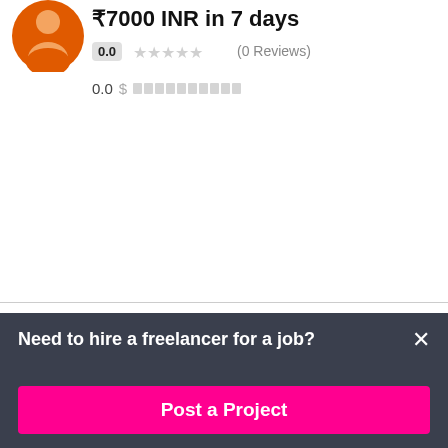[Figure (photo): Profile avatar of first freelancer in orange clothing, partially cropped at top]
₹7000 INR in 7 days
0.0 ★★★★★ (0 Reviews)
0.0 $
[Figure (photo): Profile avatar of btemmy86 in pink/magenta clothing]
btemmy86 🇳🇬
₹7000 INR in 7 days
0.0 ★★★★★ (0 Reviews)
0.0 $
Need to hire a freelancer for a job?
Post a Project